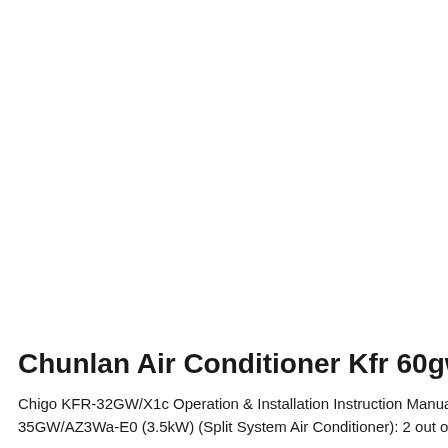Chunlan Air Conditioner Kfr 60gw Man
Chigo KFR-32GW/X1c Operation & Installation Instruction Manual
35GW/AZ3Wa-E0 (3.5kW) (Split System Air Conditioner): 2 out of